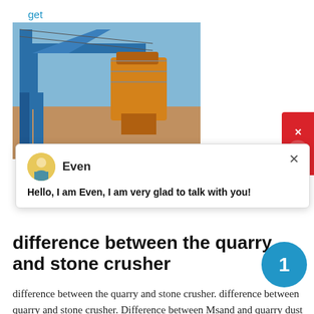get price
[Figure (photo): Industrial stone crusher and conveyor equipment with blue steel frame structure and orange/yellow crushing machinery against a blue sky background.]
Even
Hello, I am Even, I am very glad to talk with you!
difference between the quarry and stone crusher
difference between the quarry and stone crusher. difference between quarry and stone crusher. Difference between Msand and quarry dust heavy industry is specialized in the design, manufacture and supply of crushing equipment used in mining industry. The product range of our pany prises mobile crushing